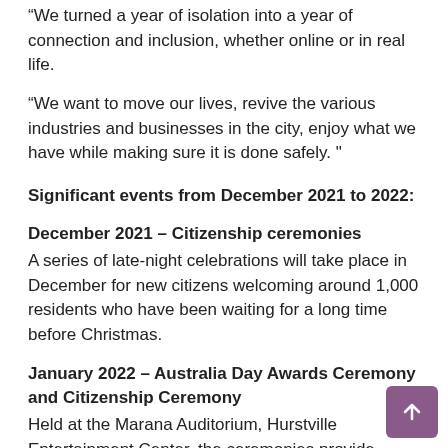“We turned a year of isolation into a year of connection and inclusion, whether online or in real life.
“We want to move our lives, revive the various industries and businesses in the city, enjoy what we have while making sure it is done safely. ”
Significant events from December 2021 to 2022:
December 2021 – Citizenship ceremonies
A series of late-night celebrations will take place in December for new citizens welcoming around 1,000 residents who have been waiting for a long time before Christmas.
January 2022 – Australia Day Awards Ceremony and Citizenship Ceremony
Held at the Marana Auditorium, Hurstville Entertainment Center, the ceremonies provide Australia Day Award winners and new citizens with an unforgettable experience to be recognized as part of the Australian family. The event will